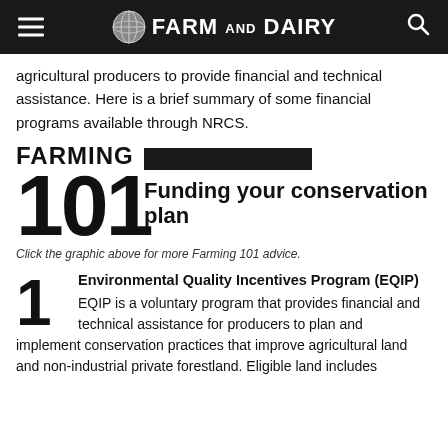Farm and Dairy
agricultural producers to provide financial and technical assistance. Here is a brief summary of some financial programs available through NRCS.
[Figure (infographic): Farming 101 graphic with large bold text reading FARMING 101 and a black bar, with text Funding your conservation plan]
Click the graphic above for more Farming 101 advice.
1 Environmental Quality Incentives Program (EQIP) - EQIP is a voluntary program that provides financial and technical assistance for producers to plan and implement conservation practices that improve agricultural land and non-industrial private forestland. Eligible land includes